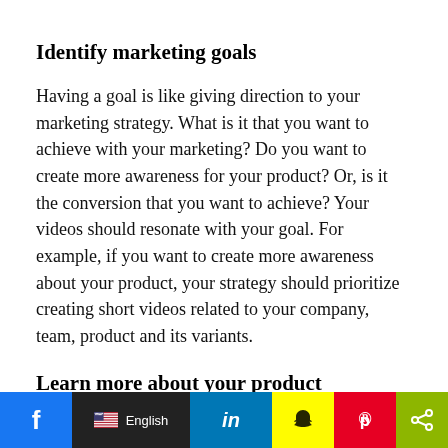Identify marketing goals
Having a goal is like giving direction to your marketing strategy. What is it that you want to achieve with your marketing? Do you want to create more awareness for your product? Or, is it the conversion that you want to achieve? Your videos should resonate with your goal. For example, if you want to create more awareness about your product, your strategy should prioritize creating short videos related to your company, team, product and its variants.
Learn more about your product
Knowing your product gives you more confidence to